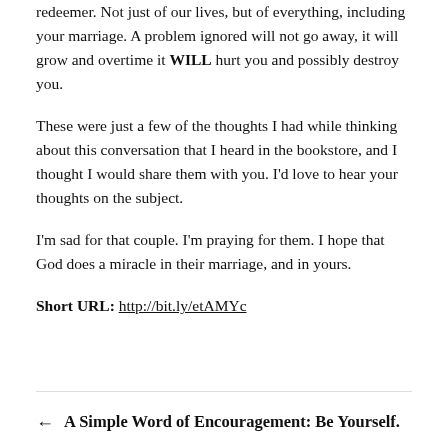redeemer. Not just of our lives, but of everything, including your marriage. A problem ignored will not go away, it will grow and overtime it WILL hurt you and possibly destroy you.
These were just a few of the thoughts I had while thinking about this conversation that I heard in the bookstore, and I thought I would share them with you. I'd love to hear your thoughts on the subject.
I'm sad for that couple. I'm praying for them. I hope that God does a miracle in their marriage, and in yours.
Short URL: http://bit.ly/etAMYc
← A Simple Word of Encouragement: Be Yourself.